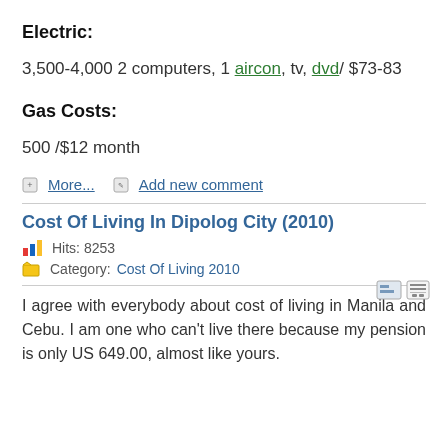Electric:
3,500-4,000 2 computers, 1 aircon, tv, dvd/ $73-83
Gas Costs:
500 /$12 month
More... Add new comment
Cost Of Living In Dipolog City (2010)
Hits: 8253
Category: Cost Of Living 2010
I agree with everybody about cost of living in Manila and Cebu. I am one who can't live there because my pension is only US 649.00, almost like yours.